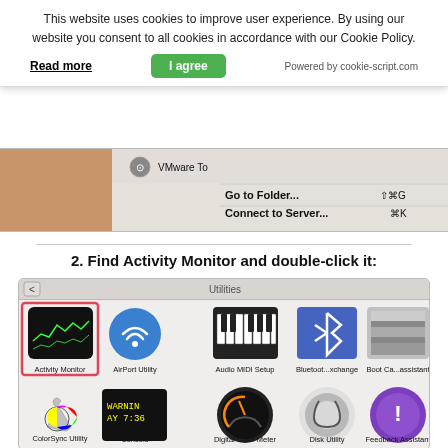This website uses cookies to improve user experience. By using our website you consent to all cookies in accordance with our Cookie Policy.
Read more   I agree   Powered by cookie-script.com
[Figure (screenshot): macOS Finder menu showing VMware Tools option and Go menu items: Go to Folder... (Shift+Cmd+G), Connect to Server... (Cmd+K)]
2. Find Activity Monitor and double-click it:
[Figure (screenshot): macOS Utilities folder showing application icons: Activity Monitor (highlighted with red border), AirPort Utility, Audio MIDI Setup, Bluetooth...xchange, Boot Ca...ssistant, ColorSync Utility, Console, Digital Color Meter, Disk Utility, Feedback Assistant, and partial bottom row]